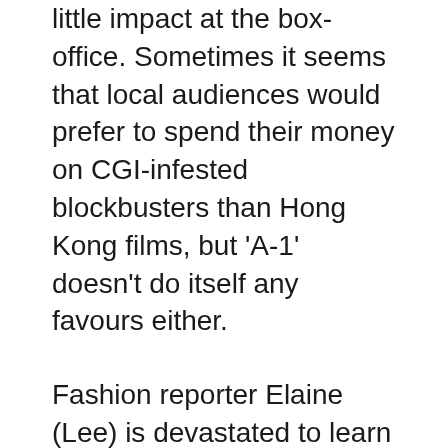little impact at the box-office. Sometimes it seems that local audiences would prefer to spend their money on CGI-infested blockbusters than Hong Kong films, but 'A-1' doesn't do itself any favours either.
Fashion reporter Elaine (Lee) is devastated to learn that her ex-boyfriend and fellow reporter Peter has been killed in a car crash. On returning home after this traumatic news, she is also confronted with a pair of debt-collectors (Wong and Kot) who are keen to recoup the boss' money from her. Although she fights them off and the police arrive, Elaine agrees not to press charges and the debt collectors apologise for the pressure in light of her bad news. One of the two, Fei (Wong), is an ex-policeman and,